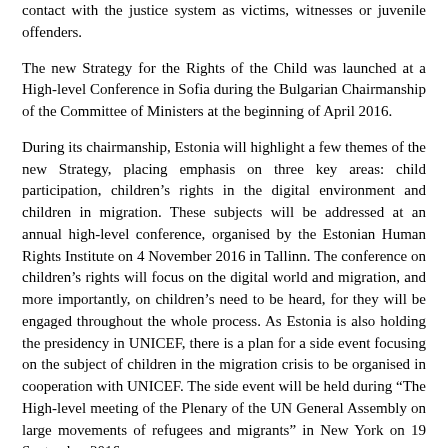contact with the justice system as victims, witnesses or juvenile offenders.
The new Strategy for the Rights of the Child was launched at a High-level Conference in Sofia during the Bulgarian Chairmanship of the Committee of Ministers at the beginning of April 2016.
During its chairmanship, Estonia will highlight a few themes of the new Strategy, placing emphasis on three key areas: child participation, children's rights in the digital environment and children in migration. These subjects will be addressed at an annual high-level conference, organised by the Estonian Human Rights Institute on 4 November 2016 in Tallinn. The conference on children's rights will focus on the digital world and migration, and more importantly, on children's need to be heard, for they will be engaged throughout the whole process. As Estonia is also holding the presidency in UNICEF, there is a plan for a side event focusing on the subject of children in the migration crisis to be organised in cooperation with UNICEF. The side event will be held during “The High-level meeting of the Plenary of the UN General Assembly on large movements of refugees and migrants” in New York on 19 September 2016.
The prevention of and fight against the sexual abuse of children will remain one of the priorities in the children’s rights agenda. Estonia will ratify the Lanzarote Convention and promote better